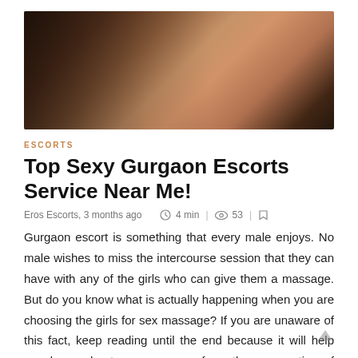[Figure (photo): A photograph showing two women in intimate/suggestive poses on a bed, one wearing lingerie]
ESCORTS
Top Sexy Gurgaon Escorts Service Near Me!
Eros Escorts, 3 months ago   4 min  |  53  |
Gurgaon escort is something that every male enjoys. No male wishes to miss the intercourse session that they can have with any of the girls who can give them a massage. But do you know what is actually happening when you are choosing the girls for sex massage? If you are unaware of this fact, keep reading until the end because it will help you learn about sex massage from the perspective of escorts